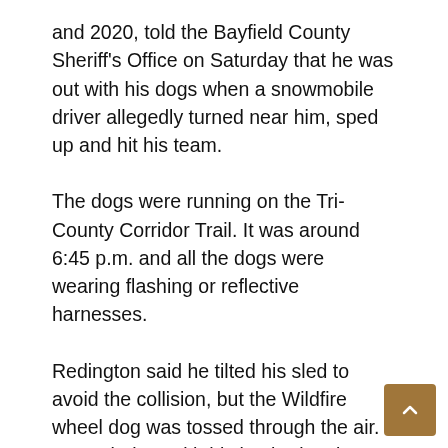and 2020, told the Bayfield County Sheriff's Office on Saturday that he was out with his dogs when a snowmobile driver allegedly turned near him, sped up and hit his team.
The dogs were running on the Tri-County Corridor Trail. It was around 6:45 p.m. and all the dogs were wearing flashing or reflective harnesses.
Redington said he tilted his sled to avoid the collision, but the Wildfire wheel dog was tossed through the air. He ended up with his leg broken in three places. Another dog, Willy, who led the Redington team to victory in the 2021 Kobuk440, survived with a bruised front leg. The snowmobile driver stopped for a moment, then